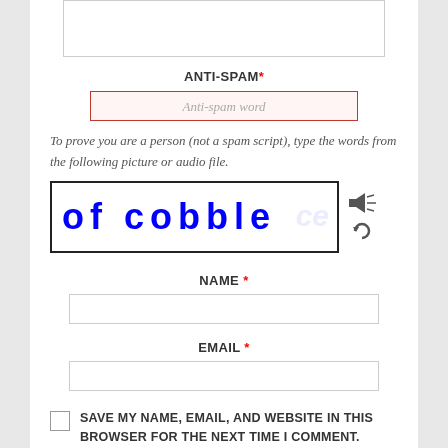[Figure (screenshot): Text area input box (partially visible at top)]
ANTI-SPAM *
[Figure (screenshot): Anti-spam text input field with red border and placeholder 'Anti-spam word']
To prove you are a person (not a spam script), type the words from the following picture or audio file.
[Figure (screenshot): CAPTCHA image showing handwritten text 'of cobble' in blue with audio/refresh icons]
NAME *
[Figure (screenshot): Name input field]
EMAIL *
[Figure (screenshot): Email input field]
SAVE MY NAME, EMAIL, AND WEBSITE IN THIS BROWSER FOR THE NEXT TIME I COMMENT.